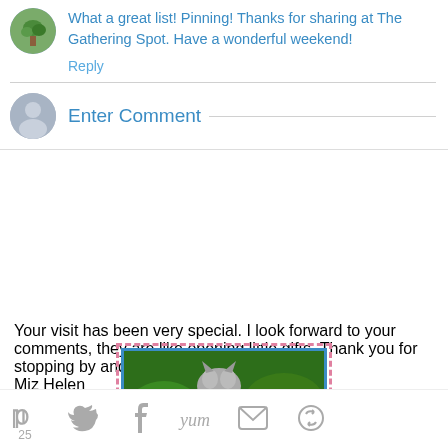What a great list! Pinning! Thanks for sharing at The Gathering Spot. Have a wonderful weekend!
Reply
Enter Comment
Your visit has been very special. I look forward to your comments, they are like opening little gifts. Thank you for stopping by and hurry back!
Miz Helen
[Figure (illustration): Blue ornamental divider bar with decorative scrollwork and arrows]
[Figure (photo): Thumbnail image with green and nature colors, bordered with pink dashed and blue solid border]
[Figure (infographic): Social sharing bar with Pinterest (25), Twitter, Facebook, Yummly, email, and another icon]